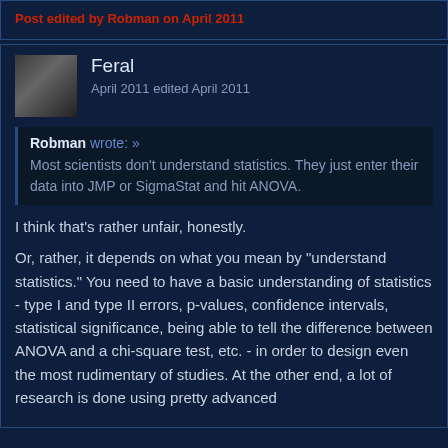Post edited by Robman on April 2011
Feral
April 2011 edited April 2011
Robman wrote: » Most scientists don't understand statistics. They just enter their data into JMP or SigmaStat and hit ANOVA.
I think that's rather unfair, honestly.
Or, rather, it depends on what you mean by "understand statistics." You need to have a basic understanding of statistics - type I and type II errors, p-values, confidence intervals, statistical significance, being able to tell the difference between ANOVA and a chi-square test, etc. - in order to design even the most rudimentary of studies. At the other end, a lot of research is done using pretty advanced